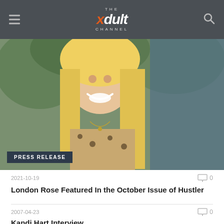THE xdult CHANNEL
[Figure (photo): Blonde woman smiling, wearing leopard print top, with green foliage in background. PRESS RELEASE badge overlaid at bottom left.]
2021-10-19
London Rose Featured In the October Issue of Hustler
2007-04-23
Kandi Hart Interview
[Figure (photo): Dark image with golden light streaks/rays on black background, partially visible at bottom of page.]